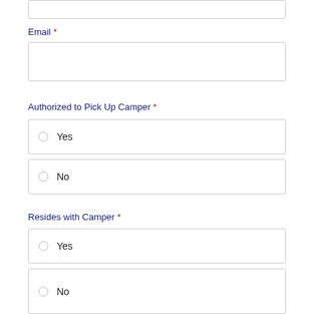[top input field — email]
Email *
[email text input box]
Authorized to Pick Up Camper *
Yes
No
Resides with Camper *
Yes
No